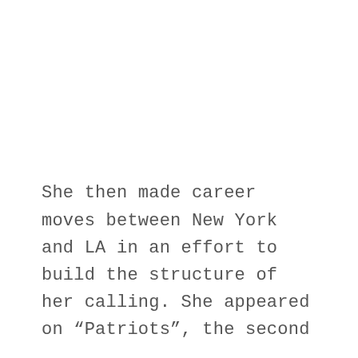She then made career moves between New York and LA in an effort to build the structure of her calling. She appeared on “Patriots”, the second